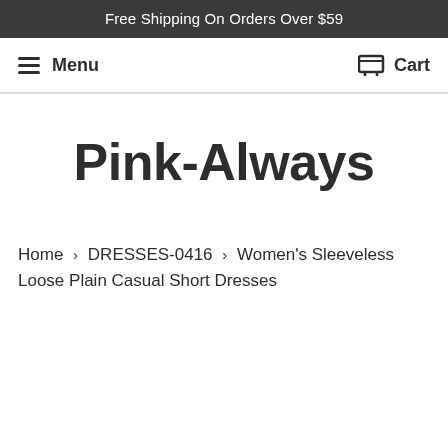Free Shipping On Orders Over $59
Menu
Cart
Pink-Always
Home › DRESSES-0416 › Women's Sleeveless Loose Plain Casual Short Dresses